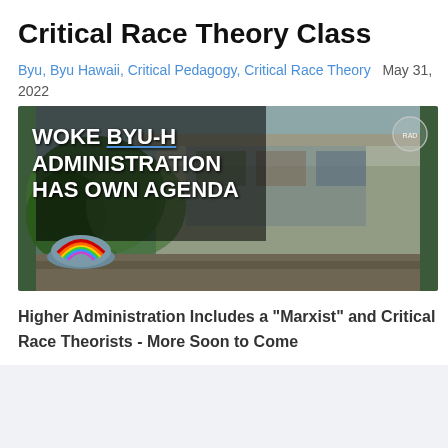Critical Race Theory Class
Byu, Byu Hawaii, Critical Pedagogy, Critical Race Theory   May 31, 2022
[Figure (photo): News thumbnail image with text overlay reading 'WOKE BYU-H ADMINISTRATION HAS OWN AGENDA' over a photo of a building with a rainbow-painted rock in the foreground. A circular logo appears in the top right corner.]
Higher Administration Includes a "Marxist" and Critical Race Theorists - More Soon to Come